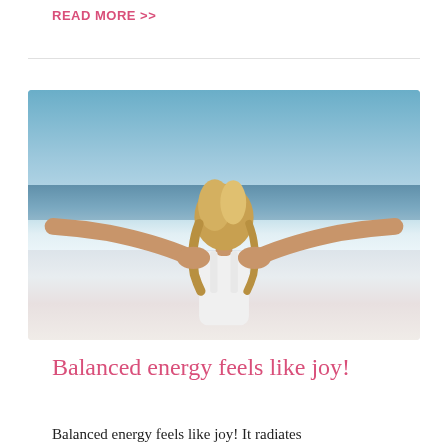READ MORE >>
[Figure (photo): Woman with arms outstretched standing at the beach facing the ocean, viewed from behind, wearing a white top, with blue sky and ocean waves in the background.]
Balanced energy feels like joy!
Balanced energy feels like joy! It radiates